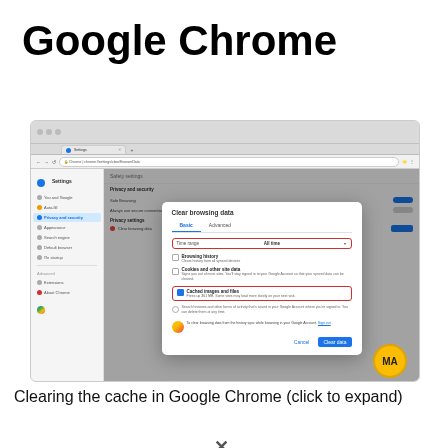Google Chrome
[Figure (screenshot): Screenshot of Google Chrome browser showing the 'Clear Browsing data' modal dialog with 'Time range: All time' highlighted with a red border, 'Cached images and files' checkbox checked and highlighted with a red border, tabs for Basic and Advanced, checkboxes for Browsing history, Cookies and other site data, Cached images and files, and a radio button for search history. Cancel and Clear data buttons at the bottom. A yellow/orange MA badge is visible in the bottom right corner.]
Clearing the cache in Google Chrome (click to expand)